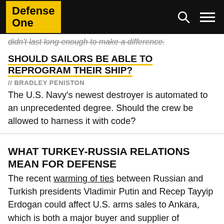Defense One
didn't last long enough to make a difference.
SHOULD SAILORS BE ABLE TO REPROGRAM THEIR SHIP?
// BRADLEY PENISTON
The U.S. Navy's newest destroyer is automated to an unprecedented degree. Should the crew be allowed to harness it with code?
WHAT TURKEY-RUSSIA RELATIONS MEAN FOR DEFENSE
The recent warming of ties between Russian and Turkish presidents Vladimir Putin and Recep Tayyip Erdogan could affect U.S. arms sales to Ankara, which is both a major buyer and supplier of American weapons and their components. In a note to investors,